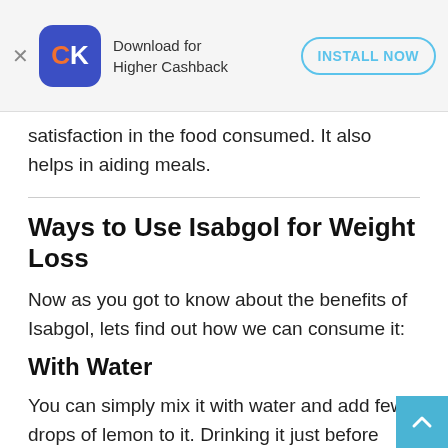Download for Higher Cashback — INSTALL NOW
satisfaction in the food consumed. It also helps in aiding meals.
Ways to Use Isabgol for Weight Loss
Now as you got to know about the benefits of Isabgol, lets find out how we can consume it:
With Water
You can simply mix it with water and add few drops of lemon to it. Drinking it just before your meal or every morning before breakfast will help you lose weight.